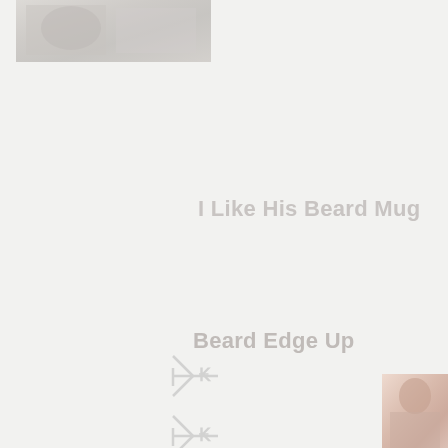[Figure (photo): Partial photo at top left, appears to show an outdoor or portrait scene, faded/light]
I Like His Beard Mug
[Figure (illustration): Small faded icon/logo in the middle-left area]
Beard Edge Up
[Figure (illustration): Small faded icon/logo in the lower-left area]
[Figure (photo): Partial photo at bottom right, appears to show a person, pinkish tones, faded]